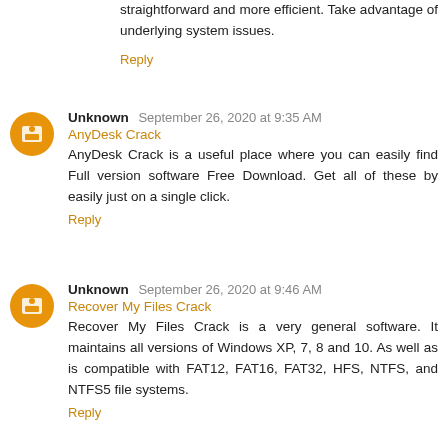straightforward and more efficient. Take advantage of underlying system issues.
Reply
Unknown September 26, 2020 at 9:35 AM
AnyDesk Crack
AnyDesk Crack is a useful place where you can easily find Full version software Free Download. Get all of these by easily just on a single click.
Reply
Unknown September 26, 2020 at 9:46 AM
Recover My Files Crack
Recover My Files Crack is a very general software. It maintains all versions of Windows XP, 7, 8 and 10. As well as is compatible with FAT12, FAT16, FAT32, HFS, NTFS, and NTFS5 file systems.
Reply